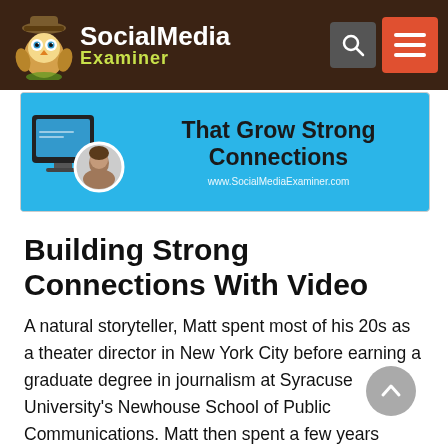Social Media Examiner
[Figure (screenshot): Social Media Examiner banner with text 'That Grow Strong Connections' and www.SocialMediaExaminer.com URL]
Building Strong Connections With Video
A natural storyteller, Matt spent most of his 20s as a theater director in New York City before earning a graduate degree in journalism at Syracuse University's Newhouse School of Public Communications. Matt then spent a few years producing TV news before becoming a digital video